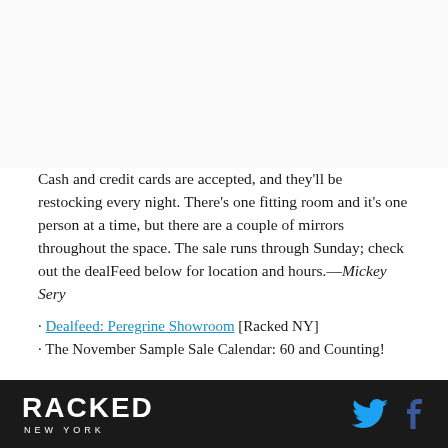[Figure (other): Blank/white image area at top of page]
Cash and credit cards are accepted, and they'll be restocking every night. There's one fitting room and it's one person at a time, but there are a couple of mirrors throughout the space. The sale runs through Sunday; check out the dealFeed below for location and hours.—Mickey Sery
· Dealfeed: Peregrine Showroom [Racked NY]
· The November Sample Sale Calendar: 60 and Counting!
RACKED NEW YORK